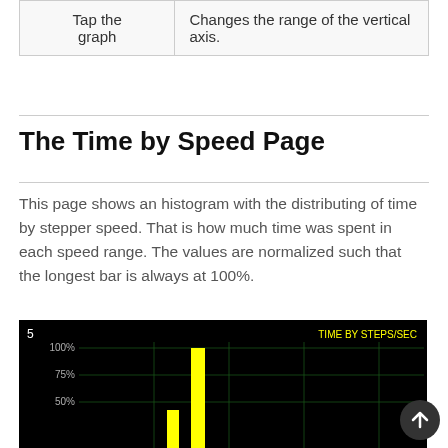| Tap the graph | Changes the range of the vertical axis. |
The Time by Speed Page
This page shows an histogram with the distributing of time by stepper speed. That is how much time was spent in each speed range. The values are normalized such that the longest bar is always at 100%.
[Figure (histogram): Bar chart on black background showing time distribution by steps/sec. Y-axis shows 100%, 75%, 50%. A tall yellow bar at ~100% and a shorter yellow bar at ~30% are visible. Label '5' in top-left.]